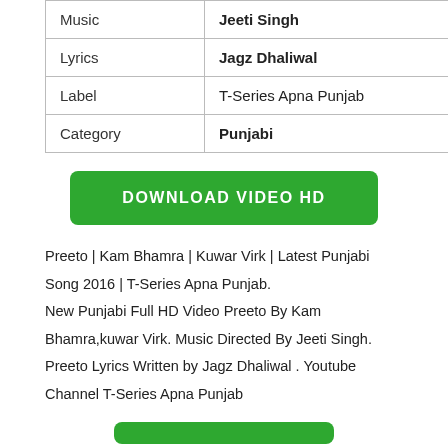| Music | Jeeti Singh |
| Lyrics | Jagz Dhaliwal |
| Label | T-Series Apna Punjab |
| Category | Punjabi |
DOWNLOAD VIDEO HD
Preeto | Kam Bhamra | Kuwar Virk | Latest Punjabi Song 2016 | T-Series Apna Punjab.
New Punjabi Full HD Video Preeto By Kam Bhamra,kuwar Virk. Music Directed By Jeeti Singh. Preeto Lyrics Written by Jagz Dhaliwal . Youtube Channel T-Series Apna Punjab